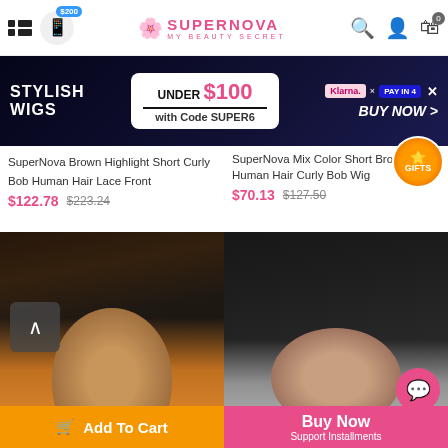SuperNova My Beauty Secret — $200 chat, Search, Account, Cart (0)
[Figure (screenshot): Promotional banner: STYLISH WIGS UNDER $100 with Code SUPER6, Klarna x Pay in 4, BUY NOW >]
SuperNova Brown Highlight Short Curly Bob Human Hair Lace Front
$122.78  $223.24
SuperNova Mix Color Short Brown Human Hair Curly Bob Wig
$70.13  $127.50
[Figure (photo): Woman wearing brown highlight short curly bob wig]
[Figure (photo): Woman wearing short brown curly bob wig with GIFTS badge]
Add To Cart
Buy Now  Support Installments